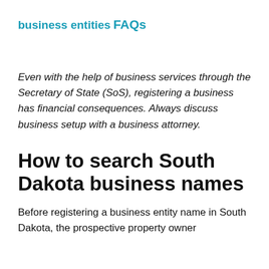business entities
FAQs
Even with the help of business services through the Secretary of State (SoS), registering a business has financial consequences. Always discuss business setup with a business attorney.
How to search South Dakota business names
Before registering a business entity name in South Dakota, the prospective property owner